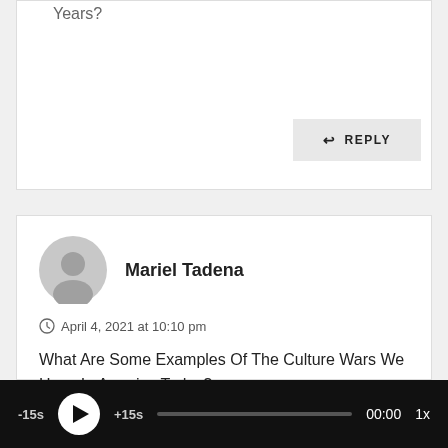Years?
REPLY
Mariel Tadena
April 4, 2021 at 10:10 pm
What Are Some Examples Of The Culture Wars We Have In America Today?
REPLY
[Figure (screenshot): Audio player bar with -15s, play button, +15s, progress bar, 00:00 timestamp, and 1x speed control on black background]